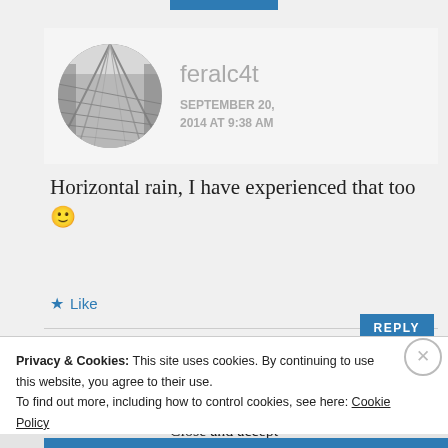[Figure (photo): Circular avatar photo showing an architectural perspective shot looking up a building structure, black and white photo]
feralc4t
SEPTEMBER 20, 2014 AT 9:38 AM
Horizontal rain, I have experienced that too 🙂
★ Like
REPLY
Privacy & Cookies: This site uses cookies. By continuing to use this website, you agree to their use.
To find out more, including how to control cookies, see here: Cookie Policy
Close and accept